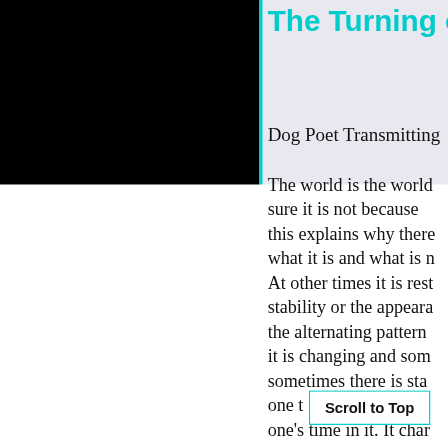[Figure (other): Black panel on the left side of the page]
The Turning o
Dog Poet Transmitting
The world is the world sure it is not because this explains why there what it is and what is n At other times it is rest stability or the appeara the alternating pattern it is changing and som sometimes there is sta one t one's time in it. It char